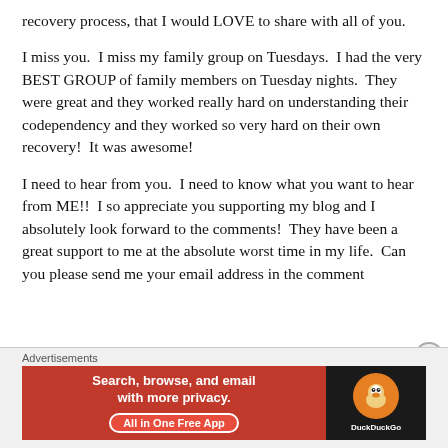recovery process, that I would LOVE to share with all of you.
I miss you.  I miss my family group on Tuesdays.  I had the very BEST GROUP of family members on Tuesday nights.  They were great and they worked really hard on understanding their codependency and they worked so very hard on their own recovery!  It was awesome!
I need to hear from you.  I need to know what you want to hear from ME!!  I so appreciate you supporting my blog and I absolutely look forward to the comments!  They have been a great support to me at the absolute worst time in my life.  Can you please send me your email address in the comment
Advertisements
[Figure (other): DuckDuckGo advertisement banner: orange-red left panel with text 'Search, browse, and email with more privacy. All in One Free App' and a black right panel with the DuckDuckGo duck logo.]